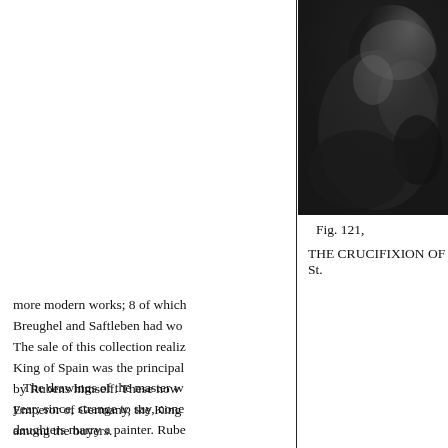[Figure (photo): Black and white photograph, partial view, dark tones, appears to be a figure or artwork detail.]
Fig. 121,
THE CRUCIFIXION OF St.
more modern works; 8 of which Breughel and Saftleben had wo The sale of this collection realiz King of Spain was the principal by Rubens himself. These now Emperor of Germany, the King among the buyers.
The drawings of the master w year; since, strange to say, none daughters marry a painter. Rube